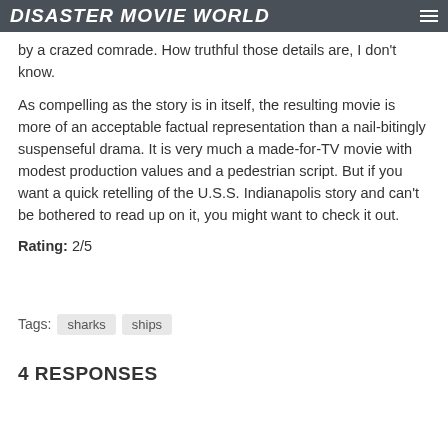DISASTER MOVIE WORLD
by a crazed comrade. How truthful those details are, I don't know.
As compelling as the story is in itself, the resulting movie is more of an acceptable factual representation than a nail-bitingly suspenseful drama. It is very much a made-for-TV movie with modest production values and a pedestrian script. But if you want a quick retelling of the U.S.S. Indianapolis story and can't be bothered to read up on it, you might want to check it out.
Rating: 2/5
Tags: sharks ships
4 RESPONSES